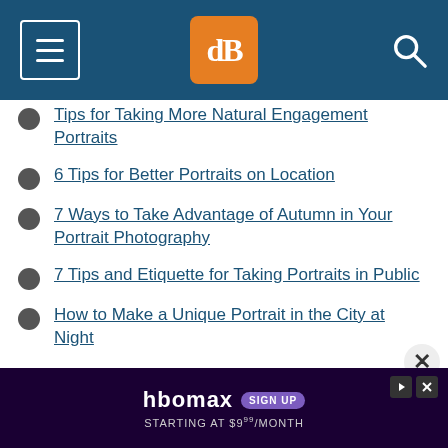[Figure (screenshot): Website header bar with hamburger menu icon on left, dPS logo (orange square with dB script) in center, and search icon on right, all on dark blue background]
Tips for Taking More Natural Engagement Portraits
6 Tips for Better Portraits on Location
7 Ways to Take Advantage of Autumn in Your Portrait Photography
7 Tips and Etiquette for Taking Portraits in Public
How to Make a Unique Portrait in the City at Night
3 Tips for Creating Outstanding Portraits, Inspired by the work of Dutch Artist Van Gogh
[Figure (screenshot): HBO Max advertisement banner: dark purple background, HBO Max logo with SIGN UP badge, text STARTING AT $9/MONTH]